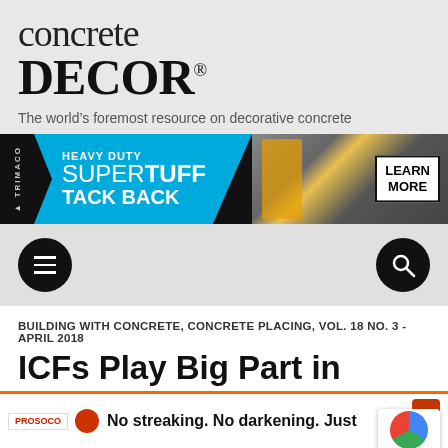concrete DECOR®
The world's foremost resource on decorative concrete
[Figure (infographic): TRIMACO advertisement banner: HEAVY DUTY SUPERTUFF TACK BACK with yellow hand truck photo and LEARN MORE button]
[Figure (infographic): Navigation bar with hamburger menu icon (left) and search icon (right), both in black circles]
BUILDING WITH CONCRETE, CONCRETE PLACING, VOL. 18 NO. 3 - APRIL 2018
ICFs Play Big Part in Energy-Efficient Schools' Design
[Figure (infographic): PROSOCO bottom ad: No streaking. No darkening. Just LONG-LASTING PROTECTION with bottle icon]